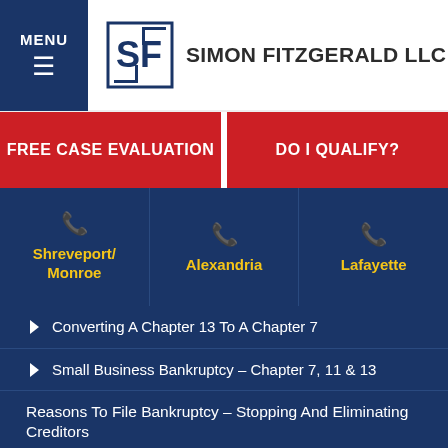[Figure (logo): Simon Fitzgerald LLC law firm logo with SF monogram in blue square bracket design and firm name text]
FREE CASE EVALUATION
DO I QUALIFY?
Shreveport/ Monroe
Alexandria
Lafayette
Converting A Chapter 13 To A Chapter 7
Small Business Bankruptcy – Chapter 7, 11 & 13
Reasons To File Bankruptcy – Stopping And Eliminating Creditors
What Property Can You Keep?
General Info About Bankruptcy
How Does Bankruptcy Affect Your Credit?